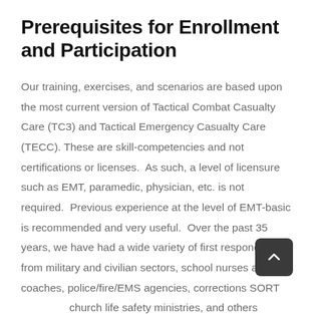Prerequisites for Enrollment and Participation
Our training, exercises, and scenarios are based upon the most current version of Tactical Combat Casualty Care (TC3) and Tactical Emergency Casualty Care (TECC). These are skill-competencies and not certifications or licenses.  As such, a level of licensure such as EMT, paramedic, physician, etc. is not required.  Previous experience at the level of EMT-basic is recommended and very useful.  Over the past 35 years, we have had a wide variety of first responders from military and civilian sectors, school nurses and coaches, police/fire/EMS agencies, corrections SORT teams, church life safety ministries, and others gainfully